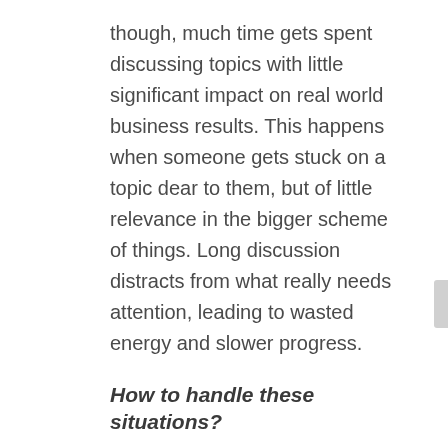though, much time gets spent discussing topics with little significant impact on real world business results. This happens when someone gets stuck on a topic dear to them, but of little relevance in the bigger scheme of things. Long discussion distracts from what really needs attention, leading to wasted energy and slower progress.
How to handle these situations?
Cutting off discussion on marginal subjects whenever they're raised signals the expectation you'll focus only on things that matter. Doing this, however, risks individuals shutting down on more important topics too.